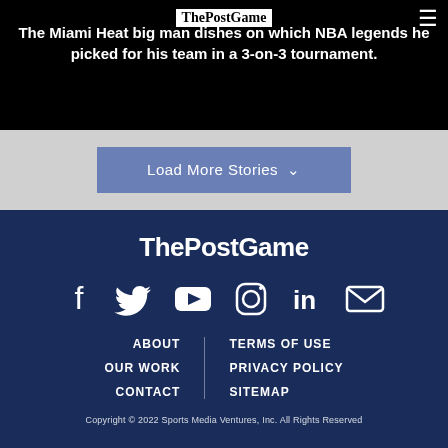ThePostGame
The Miami Heat big man dishes on which NBA legends he picked for his team in a 3-on-3 tournament.
Load More Stories
[Figure (logo): ThePostGame logo in white bold text on dark navy background]
[Figure (infographic): Social media icons: Facebook, Twitter, YouTube, Instagram, LinkedIn, Email/envelope]
ABOUT
OUR WORK
CONTACT
TERMS OF USE
PRIVACY POLICY
SITEMAP
Copyright © 2022 Sports Media Ventures, Inc. All Rights Reserved